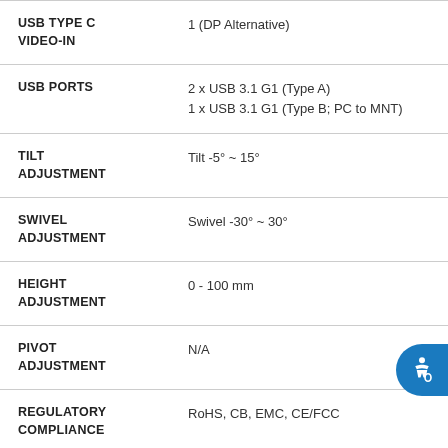| Feature | Value |
| --- | --- |
| USB TYPE C VIDEO-IN | 1 (DP Alternative) |
| USB PORTS | 2 x USB 3.1 G1 (Type A)
1 x USB 3.1 G1 (Type B; PC to MNT) |
| TILT ADJUSTMENT | Tilt -5° ~ 15° |
| SWIVEL ADJUSTMENT | Swivel -30° ~ 30° |
| HEIGHT ADJUSTMENT | 0 - 100 mm |
| PIVOT ADJUSTMENT | N/A |
| REGULATORY COMPLIANCE | RoHS, CB, EMC, CE/FCC |